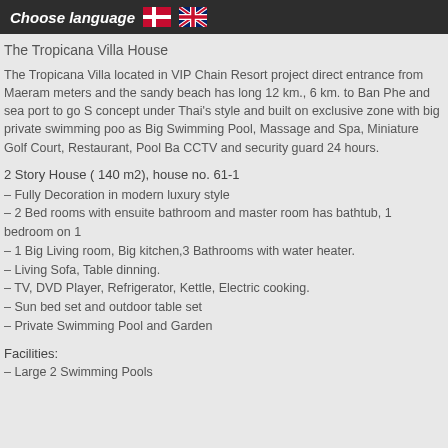Choose language
The Tropicana Villa House
The Tropicana Villa located in VIP Chain Resort project direct entrance from Maeram meters and the sandy beach has long 12 km., 6 km. to Ban Phe and sea port to go S concept under Thai's style and built on exclusive zone with big private swimming poo as Big Swimming Pool, Massage and Spa, Miniature Golf Court, Restaurant, Pool Ba CCTV and security guard 24 hours.
2 Story House ( 140 m2), house no. 61-1
– Fully Decoration in modern luxury style
– 2 Bed rooms with ensuite bathroom and master room has bathtub, 1 bedroom on 1
– 1 Big Living room, Big kitchen,3 Bathrooms with water heater.
– Living Sofa, Table dinning.
– TV, DVD Player, Refrigerator, Kettle, Electric cooking.
– Sun bed set and outdoor table set
– Private Swimming Pool and Garden
Facilities:
– Large 2 Swimming Pools